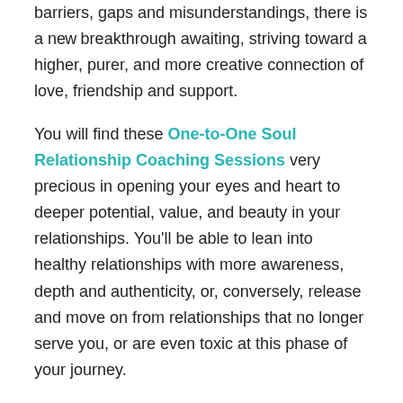barriers, gaps and misunderstandings, there is a new breakthrough awaiting, striving toward a higher, purer, and more creative connection of love, friendship and support.
You will find these One-to-One Soul Relationship Coaching Sessions very precious in opening your eyes and heart to deeper potential, value, and beauty in your relationships. You'll be able to lean into healthy relationships with more awareness, depth and authenticity, or, conversely, release and move on from relationships that no longer serve you, or are even toxic at this phase of your journey.